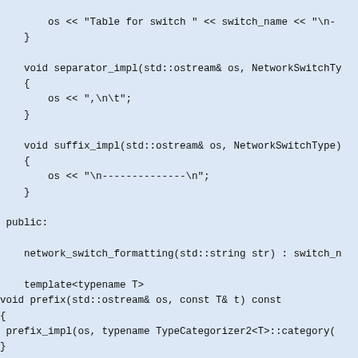os << "Table for switch " << switch_name << "\n-
    }

    void separator_impl(std::ostream& os, NetworkSwitchTy
    {
        os << ",\n\t";
    }

    void suffix_impl(std::ostream& os, NetworkSwitchType)
    {
        os << "\n--------------\n";
    }

 public:

    network_switch_formatting(std::string str) : switch_n

    template<typename T>
void prefix(std::ostream& os, const T& t) const
{
 prefix_impl(os, typename TypeCategorizer2<T>::category(
}

template<typename T>
void separator(std::ostream& os, const T& t) const
{
 separator_impl(os, typename TypeCategorizer2<T>::catego